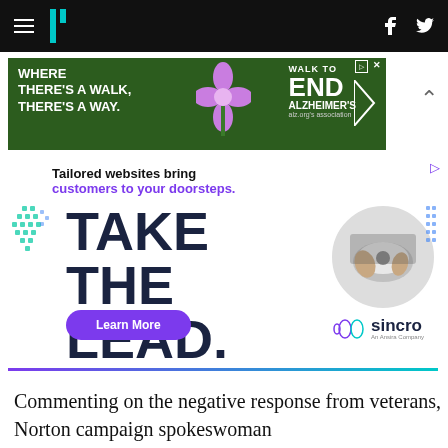HuffPost navigation bar with logo, hamburger menu, Facebook and Twitter icons
[Figure (infographic): Alzheimer's Association Walk to End Alzheimer's banner advertisement with purple flower and arrow logo]
[Figure (infographic): Sincro automotive website advertisement: 'Tailored websites bring customers to your doorsteps. TAKE THE LEAD.' with person driving, Learn More button, and Sincro An Ansira Company logo]
Commenting on the negative response from veterans, Norton campaign spokeswoman